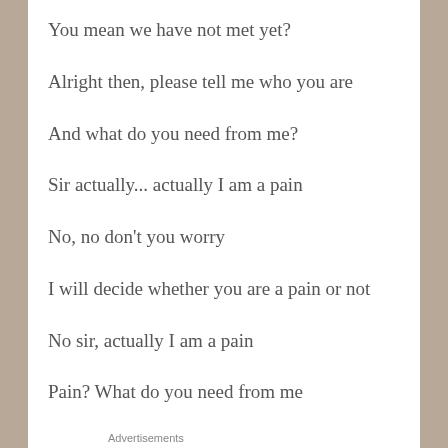You mean we have not met yet?
Alright then, please tell me who you are
And what do you need from me?
Sir actually... actually I am a pain
No, no don't you worry
I will decide whether you are a pain or not
No sir, actually I am a pain
Pain? What do you need from me
Advertisements
[Figure (screenshot): Advertisement banner with dark navy background and white bold text: 'Create surveys, polls,']